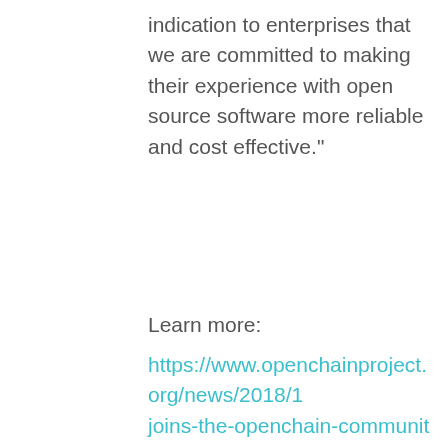indication to enterprises that we are committed to making their experience with open source software more reliable and cost effective.”
Learn more:
https://www.openchainproject.org/news/2018/1 joins-the-openchain-community-of-conformance
Media
This website stores data such as cookies to enable essential site functionality, as well as marketing, personalization, and analytics. By remaining on this website you indicate your consent. Cookie Policy